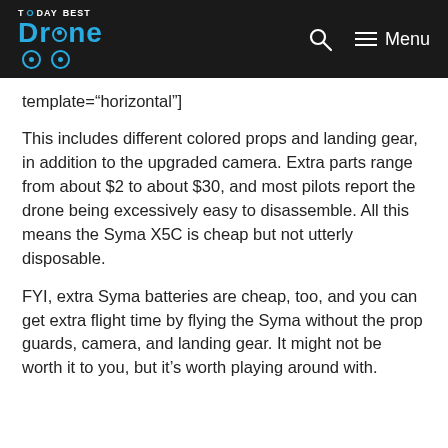TODAY BEST Drone — Menu
template="horizontal"]
This includes different colored props and landing gear, in addition to the upgraded camera. Extra parts range from about $2 to about $30, and most pilots report the drone being excessively easy to disassemble. All this means the Syma X5C is cheap but not utterly disposable.
FYI, extra Syma batteries are cheap, too, and you can get extra flight time by flying the Syma without the prop guards, camera, and landing gear. It might not be worth it to you, but it's worth playing around with.